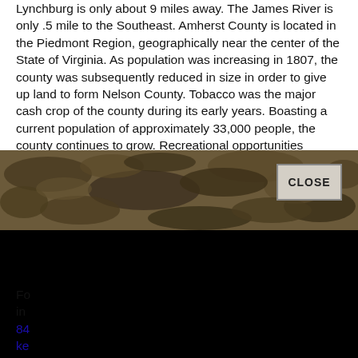Lynchburg is only about 9 miles away. The James River is only .5 mile to the Southeast. Amherst County is located in the Piedmont Region, geographically near the center of the State of Virginia. As population was increasing in 1807, the county was subsequently reduced in size in order to give up land to form Nelson County. Tobacco was the major cash crop of the county during its early years. Boasting a current population of approximately 33,000 people, the county continues to grow. Recreational opportunities include canoeing, kayaking and fishing on public lak... an... pa... 25... Co... Fo... Mo...
[Figure (photo): A camouflage-patterned image overlay covering the middle section of the page, with a CLOSE button in the top-right corner.]
Fo... in... 84... ke... Fa...